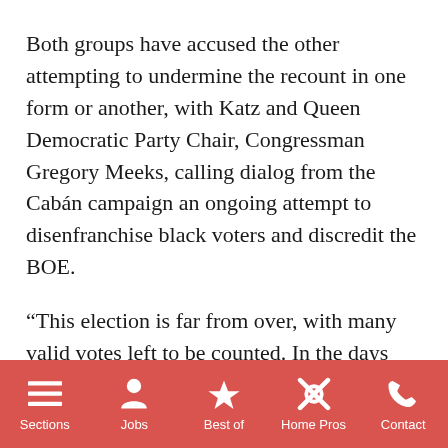Both groups have accused the other attempting to undermine the recount in one form or another, with Katz and Queen Democratic Party Chair, Congressman Gregory Meeks, calling dialog from the Cabán campaign an ongoing attempt to disenfranchise black voters and discredit the BOE.
“This election is far from over, with many valid votes left to be counted. In the days ahead, the manual recount will yield potentially hundreds of additional votes that were not previously captured by voting machines and we will fight to make sure all valid votes are counted,” said Daniel Lumer, Cabán campaign spokesman. “At the same time, our team is
Sections   Jobs   Best of   Home Pros   Contact